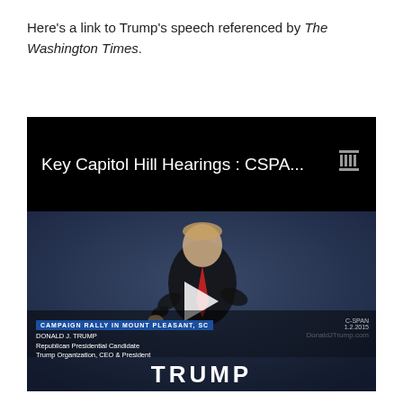Here's a link to Trump's speech referenced by The Washington Times.
[Figure (screenshot): Video thumbnail from C-SPAN/archive.org showing 'Key Capitol Hill Hearings : CSPA...' with a video still of Donald Trump speaking at a campaign rally with 'AMERICA GREAT' banner in background and a play button overlay. Lower portion shows 'TRUMP' text and campaign rally information.]